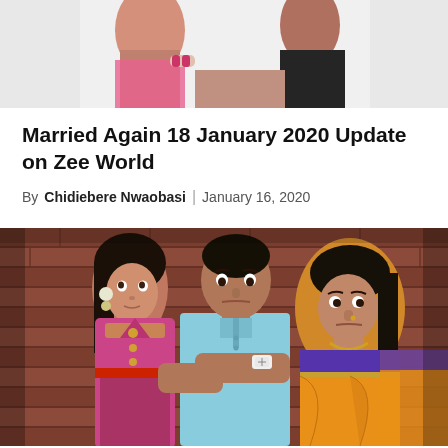[Figure (photo): Top cropped photo showing two people in traditional Indian clothing, close-up of a woman in a pink/orange saree and a person in dark clothing]
Married Again 18 January 2020 Update on Zee World
By Chidiebere Nwaobasi | January 16, 2020
[Figure (photo): Main photo showing three actors from Zee World show 'Married Again' — a woman in pink salwar kameez on the left, a man in light blue kurta in the center with arms crossed, and a woman in orange/yellow saree on the right, standing in front of a brick wall backdrop]